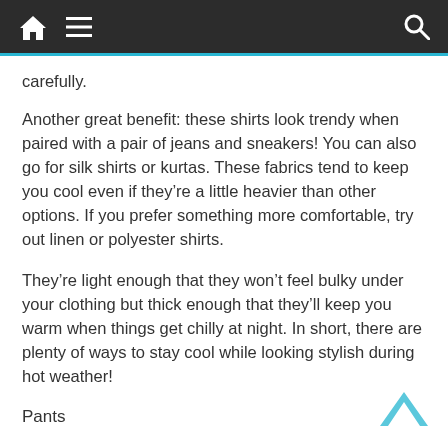Navigation bar with home, menu, and search icons
carefully.
Another great benefit: these shirts look trendy when paired with a pair of jeans and sneakers! You can also go for silk shirts or kurtas. These fabrics tend to keep you cool even if they’re a little heavier than other options. If you prefer something more comfortable, try out linen or polyester shirts.
They’re light enough that they won’t feel bulky under your clothing but thick enough that they’ll keep you warm when things get chilly at night. In short, there are plenty of ways to stay cool while looking stylish during hot weather!
Pants